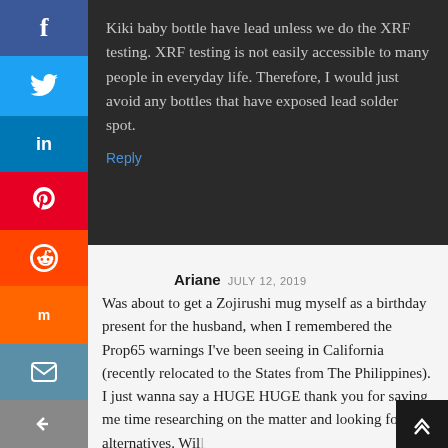Kiki baby bottle have lead unless we do the XRF testing. XRF testing is not easily accessible to many people in everyday life. Therefore, I would just avoid any bottles that have exposed lead solder spot.
Reply
Ariane JULY 12, 2019
Was about to get a Zojirushi mug myself as a birthday present for the husband, when I remembered the Prop65 warnings I've been seeing in California (recently relocated to the States from The Philippines). I just wanna say a HUGE HUGE thank you for saving me time researching on the matter and looking for alternatives. Will